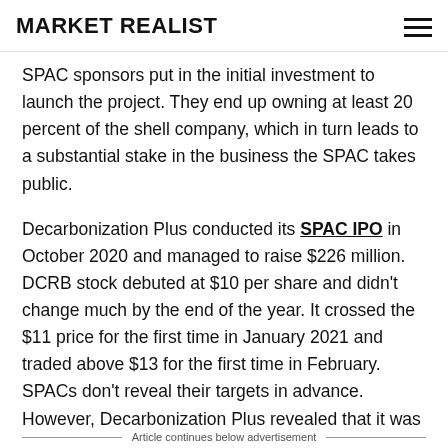MARKET REALIST
SPAC sponsors put in the initial investment to launch the project. They end up owning at least 20 percent of the shell company, which in turn leads to a substantial stake in the business the SPAC takes public.
Decarbonization Plus conducted its SPAC IPO in October 2020 and managed to raise $226 million. DCRB stock debuted at $10 per share and didn't change much by the end of the year. It crossed the $11 price for the first time in January 2021 and traded above $13 for the first time in February. SPACs don't reveal their targets in advance. However, Decarbonization Plus revealed that it was looking for a target in the clean energy sector.
Article continues below advertisement